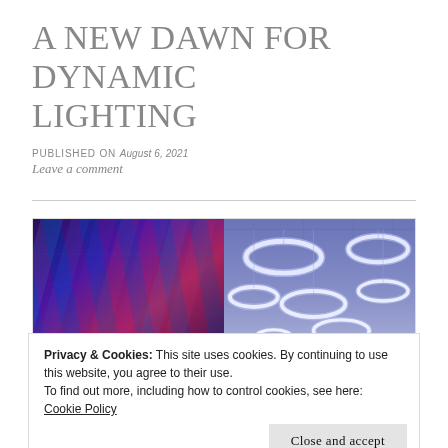A NEW DAWN FOR DYNAMIC LIGHTING
PUBLISHED ON August 6, 2021
Leave a comment
[Figure (photo): Two side-by-side photos: left shows colorful blue/purple/pink dynamic stage lighting; right shows circular ring pendant lights hanging from a ceiling in a blue-purple toned space]
Privacy & Cookies: This site uses cookies. By continuing to use this website, you agree to their use.
To find out more, including how to control cookies, see here:
Cookie Policy
Close and accept